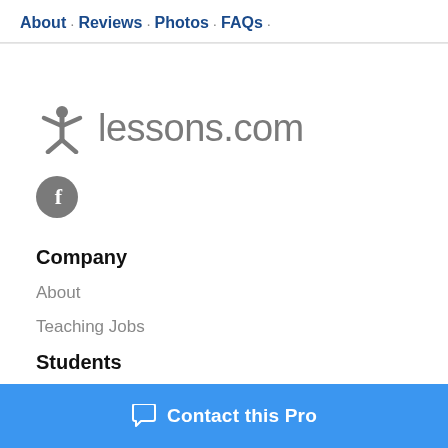About · Reviews · Photos · FAQs ·
[Figure (logo): lessons.com logo with a star person icon in dark gray and the text 'lessons.com' in gray]
[Figure (logo): Facebook icon — gray circle with white 'f']
Company
About
Teaching Jobs
Students
Contact this Pro